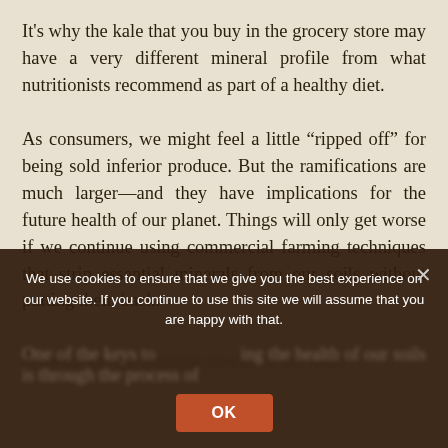It's why the kale that you buy in the grocery store may have a very different mineral profile from what nutritionists recommend as part of a healthy diet.
As consumers, we might feel a little “ripped off” for being sold inferior produce. But the ramifications are much larger—and they have implications for the future health of our planet. Things will only get worse if we continue using commercial farming techniques that strip essential minerals from our soils without putting them back.
Proteins are the building blocks of...
One of the keys to improving the health of our soils is through the process of
We use cookies to ensure that we give you the best experience on our website. If you continue to use this site we will assume that you are happy with that.